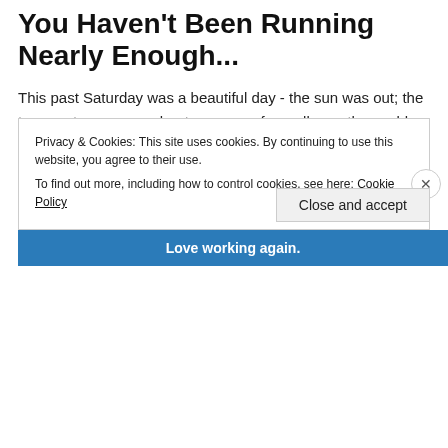You Haven't Been Running Nearly Enough...
This past Saturday was a beautiful day - the sun was out; the temperature was moderate; runners from all over the world were flocking to my city.  Jess and Brooke were off to a play date with one of her friends and Katie was off at a food tasting for a friend's upcoming event.  Everything was … Continue reading →
April 21, 2014   4 Replies
Privacy & Cookies: This site uses cookies. By continuing to use this website, you agree to their use.
To find out more, including how to control cookies, see here: Cookie Policy
Close and accept
Love working again.